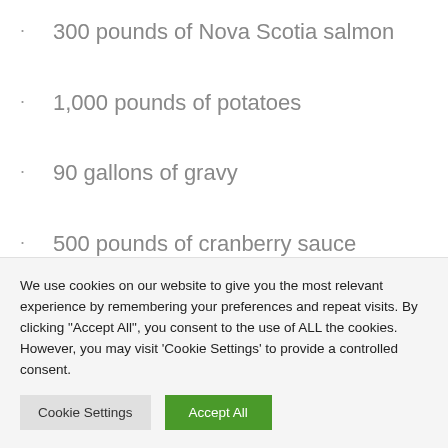300 pounds of Nova Scotia salmon
1,000 pounds of potatoes
90 gallons of gravy
500 pounds of cranberry sauce
400 gallons of cider
We use cookies on our website to give you the most relevant experience by remembering your preferences and repeat visits. By clicking "Accept All", you consent to the use of ALL the cookies. However, you may visit 'Cookie Settings' to provide a controlled consent.